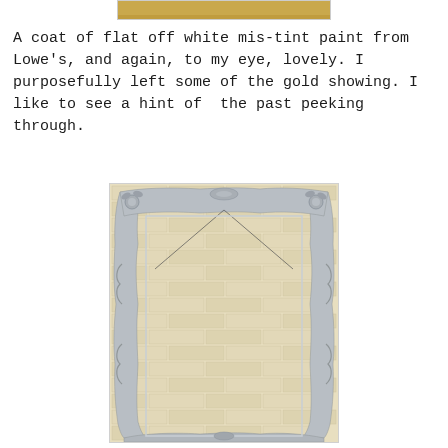[Figure (photo): Partial view of a decorative frame, cropped at top, showing warm golden/yellow tones]
A coat of flat off white mis-tint paint from Lowe's, and again, to my eye, lovely. I purposefully left some of the gold showing. I like to see a hint of  the past peeking through.
[Figure (photo): An ornate picture frame painted in flat off-white/grey paint, with decorative carved details including floral motifs at corners, hung with wire against a cream brick wall background. Gold undertones peek through the white paint.]